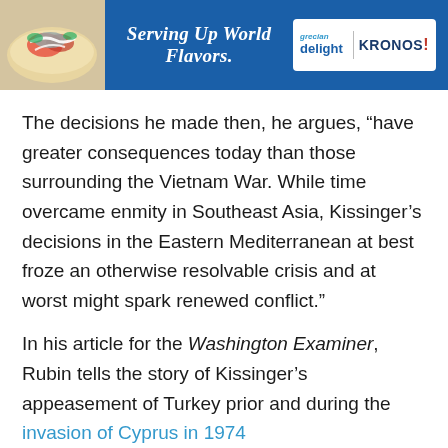[Figure (infographic): Advertisement banner with blue background showing food photo on left, italic text 'Serving Up World Flavors.' in center, and Grecian Delight / KRONOS logos on right]
The decisions he made then, he argues, “have greater consequences today than those surrounding the Vietnam War. While time overcame enmity in Southeast Asia, Kissinger’s decisions in the Eastern Mediterranean at best froze an otherwise resolvable crisis and at worst might spark renewed conflict.”
In his article for the Washington Examiner, Rubin tells the story of Kissinger’s appeasement of Turkey prior and during the invasion of Cyprus in 1974